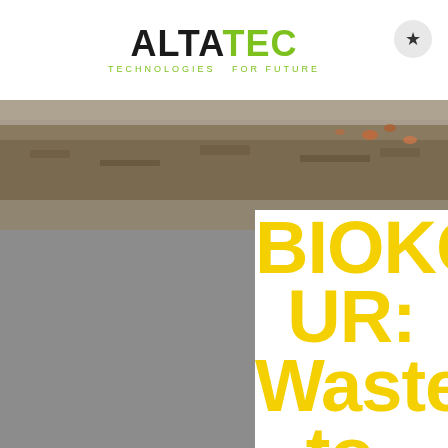ALTATEC TECHNOLOGIES FOR FUTURE
[Figure (photo): Outdoor ground/path photo with scattered leaves and debris, used as a decorative banner image]
BIOKONUR: Waste-to-Biogas Synerge